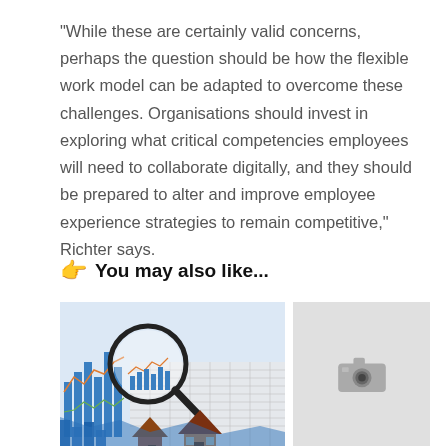“While these are certainly valid concerns, perhaps the question should be how the flexible work model can be adapted to overcome these challenges. Organisations should invest in exploring what critical competencies employees will need to collaborate digitally, and they should be prepared to alter and improve employee experience strategies to remain competitive,” Richter says.
👉  You may also like...
[Figure (photo): Photo of financial charts and graphs with a magnifying glass and two wooden house models on top of documents]
[Figure (photo): Gray placeholder image with a camera icon in the center]